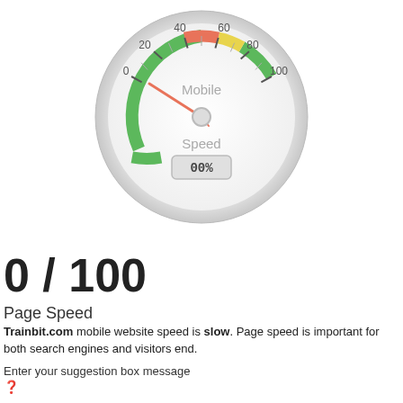[Figure (other): Speedometer gauge showing Mobile Speed score of 0/100. The gauge arc goes from 0 to 100 with colored zones: red/orange arc from ~40-60, yellow from ~60-75, green from ~75-100. The needle points near 0. A digital display at the bottom shows '00%'. Labels: Mobile (top center), Speed (center), tick marks and numbers 0, 20, 40, 60, 80, 100 around the arc.]
0 / 100
Page Speed
Trainbit.com mobile website speed is slow. Page speed is important for both search engines and visitors end.
Enter your suggestion box message
?